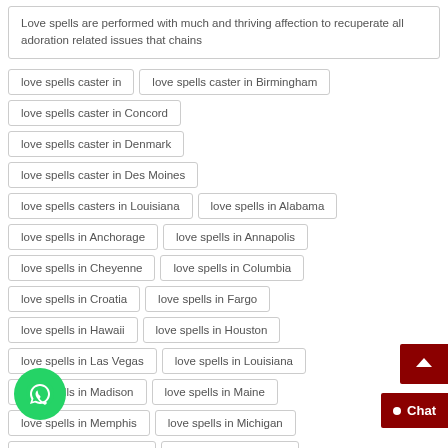Love spells are performed with much and thriving affection to recuperate all adoration related issues that chains
love spells caster in
love spells caster in Birmingham
love spells caster in Concord
love spells caster in Denmark
love spells caster in Des Moines
love spells casters in Louisiana
love spells in Alabama
love spells in Anchorage
love spells in Annapolis
love spells in Cheyenne
love spells in Columbia
love spells in Croatia
love spells in Fargo
love spells in Hawaii
love spells in Houston
love spells in Las Vegas
love spells in Louisiana
love spells in Madison
love spells in Maine
love spells in Memphis
love spells in Michigan
love spells in Minnesota
love spells in Missouri
love spells in Montgomery
love spells in Nebraska
love spells in North Dakota
love spells in Oklahoma
love spells in Omaha
love spells in Phoenix